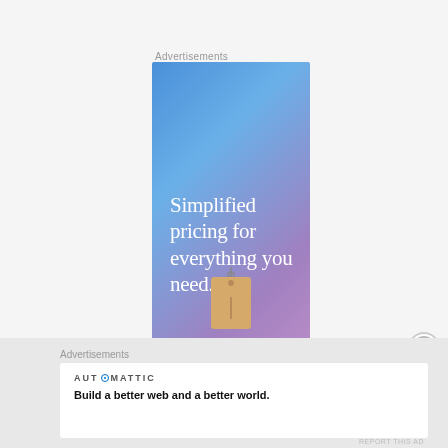Advertisements
[Figure (illustration): Advertisement banner with blue-to-purple gradient background, white serif text reading 'Simplified pricing for everything you need.' with a price tag icon below]
[Figure (other): Close/dismiss button - circle with X symbol]
Advertisements
[Figure (other): Automattic logo text with circular logo mark]
Build a better web and a better world.